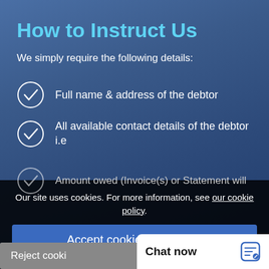How to Instruct Us
We simply require the following details:
Full name & address of the debtor
All available contact details of the debtor i.e contact numbers, Tel / Mobile / Email(s)
Amount owed (Invoice(s) or Statement will
PLEA
Our site uses cookies. For more information, see our cookie policy.
Accept cookies and close
Reject cooki
Chat now